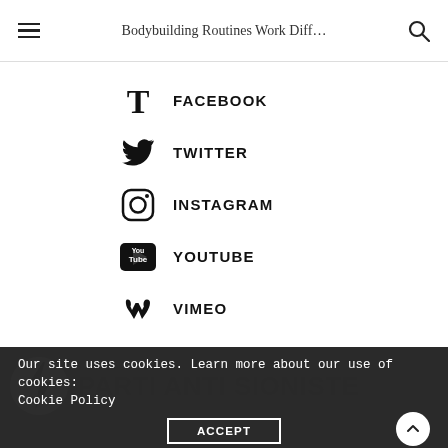Bodybuilding Routines Work Diff…
FACEBOOK
TWITTER
INSTAGRAM
YOUTUBE
VIMEO
[Figure (logo): Logo with lightning bolt and text PARTI ANTI SIONISTE]
Our site uses cookies. Learn more about our use of cookies: Cookie Policy
ACCEPT